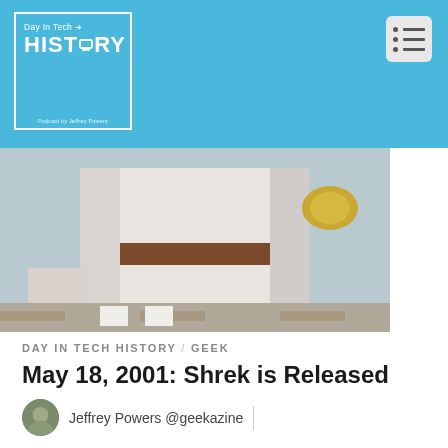Day In Tech History / HISTORY - Podcast by Jeffrey Powers
[Figure (photo): Hero image showing a person in white robes with a brown belt, holding something yellow/green, on a brick surface.]
DAY IN TECH HISTORY / GEEK
May 18, 2001: Shrek is Released
Jeffrey Powers @geekazine
60 million, Academy Award, AMD, amd processors, animated film, Arts, best animated feature, budget, Cameron Diaz, computer, computer animated film, dell, Facebook, feature sponsor, first computer, geek history,